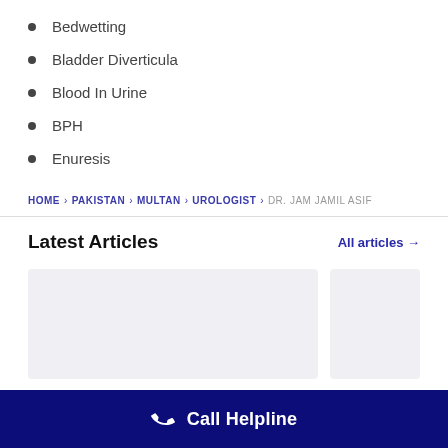Bedwetting
Bladder Diverticula
Blood In Urine
BPH
Enuresis
HOME > PAKISTAN > MULTAN > UROLOGIST > DR. JAM JAMIL ASIF
Latest Articles
All articles →
[Figure (other): Two placeholder article card images, light gray background]
Call Helpline